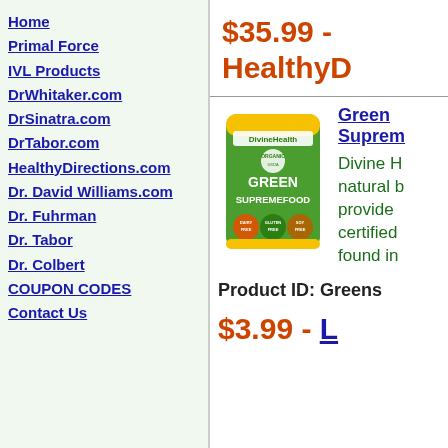Home
Primal Force
IVL Products
DrWhitaker.com
DrSinatra.com
DrTabor.com
HealthyDirections.com
Dr. David Williams.com
Dr. Fuhrman
Dr. Tabor
Dr. Colbert
COUPON CODES
Contact Us
$35.99 - HealthyD
[Figure (photo): Green Supremefood product bag - Divine Health brand, green colored packet with ORGANIC GREEN SUPREMEFOOD text, with dairy free, gluten free, soy free badges]
Green Suprem
Divine H natural b provide certified found in
Product ID: Greens
$3.99 - L